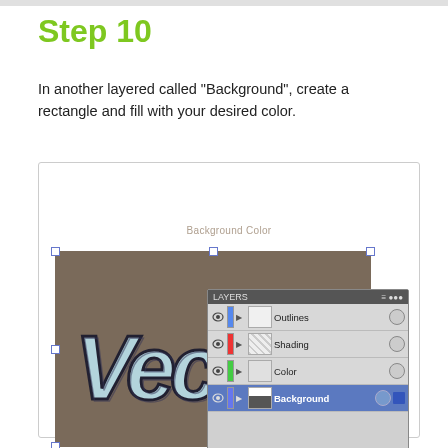Step 10
In another layered called “Background”, create a rectangle and fill with your desired color.
[Figure (screenshot): Adobe Illustrator screenshot showing a brown rectangle on the canvas with graffiti-style 'Vect' text, and the Layers panel open showing four layers: Outlines, Shading, Color, and Background (selected/highlighted in blue).]